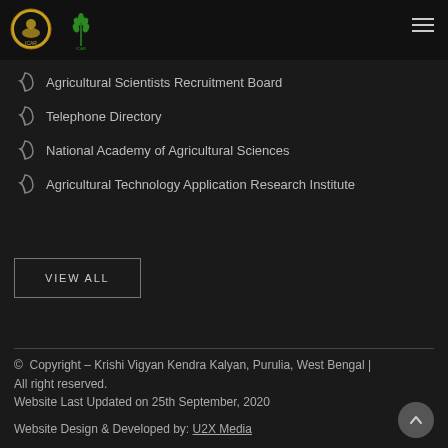[Figure (logo): Two logos side by side: circular ICAR emblem and green wheat/grain logo on dark header bar]
Agricultural Scientists Recruitment Board
Telephone Directory
National Academy of Agricultural Sciences
Agricultural Technology Application Research Institute
VIEW ALL
© Copyright – Krishi Vigyan Kendra Kalyan, Purulia, West Bengal | All right reserved.
Website Last Updated on 25th September, 2020
Website Design & Developed by: U2X Media